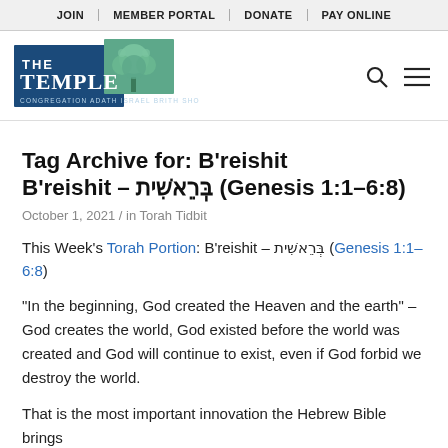JOIN | MEMBER PORTAL | DONATE | PAY ONLINE
[Figure (logo): The Temple - Congregation Adath Israel Brith Sholom logo with blue building and tree]
Tag Archive for: B'reishit
B'reishit – בְּרֵאשִׁית (Genesis 1:1–6:8)
October 1, 2021 / in Torah Tidbit
This Week's Torah Portion: B'reishit – בְּרֵאשִׁית (Genesis 1:1–6:8)
“In the beginning, God created the Heaven and the earth” – God creates the world, God existed before the world was created and God will continue to exist, even if God forbid we destroy the world.
That is the most important innovation the Hebrew Bible brings